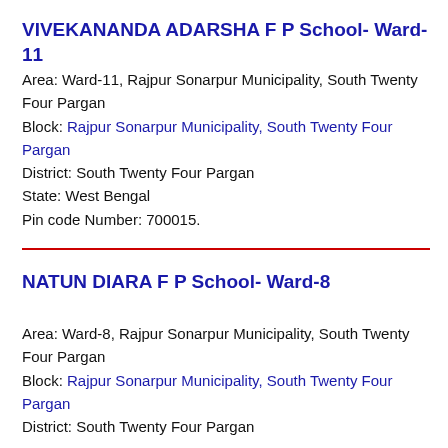VIVEKANANDA ADARSHA F P School- Ward-11
Area: Ward-11, Rajpur Sonarpur Municipality, South Twenty Four Pargan
Block: Rajpur Sonarpur Municipality, South Twenty Four Pargan
District: South Twenty Four Pargan
State: West Bengal
Pin code Number: 700015.
NATUN DIARA F P School- Ward-8
Area: Ward-8, Rajpur Sonarpur Municipality, South Twenty Four Pargan
Block: Rajpur Sonarpur Municipality, South Twenty Four Pargan
District: South Twenty Four Pargan